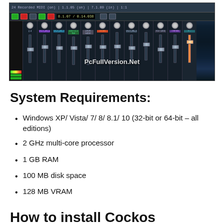[Figure (screenshot): Screenshot of Cockos REAPER digital audio workstation mixer interface with multiple channel faders, colored channel labels, VU meters, and a PcFullVersion.Net watermark overlay]
System Requirements:
Windows XP/ Vista/ 7/ 8/ 8.1/ 10 (32-bit or 64-bit – all editions)
2 GHz multi-core processor
1 GB RAM
100 MB disk space
128 MB VRAM
How to install Cockos REAPER Crack?